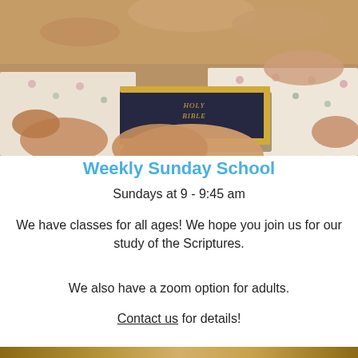[Figure (photo): Group of people's hands gathered around a Holy Bible on a table with floral paper]
Weekly Sunday School
Sundays at 9 - 9:45 am
We have classes for all ages! We hope you join us for our study of the Scriptures.
We also have a zoom option for adults.
Contact us for details!